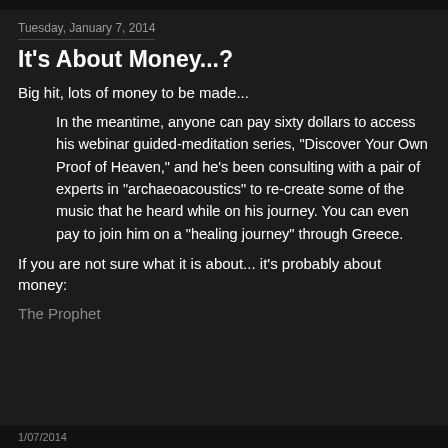Tuesday, January 7, 2014
It's About Money...?
Big hit, lots of money to be made...
In the meantime, anyone can pay sixty dollars to access his webinar guided-meditation series, "Discover Your Own Proof of Heaven," and he's been consulting with a pair of experts in "archaeoacoustics" to re-create some of the music that he heard while on his journey. You can even pay to join him on a "healing journey" through Greece.
If you are not sure what it is about... it's probably about money:
The Prophet
1/07/2014